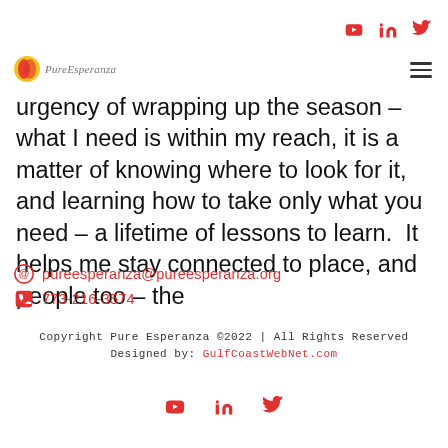Social media icons (YouTube, LinkedIn, Twitter) - top right
[Figure (logo): PureEsperanza logo with orange/red globe icon and italic script text]
urgency of wrapping up the season – what I need is within my reach, it is a matter of knowing where to look for it, and learning how to take only what you need – a lifetime of lessons to learn.  It helps me stay connected to place, and people too – the
@ pureesperanza@pureesperanza.org
📞 773-216-3574
Copyright Pure Esperanza ©2022 | All Rights Reserved
Designed by: GulfCoastWebNet.com
[Figure (logo): Social media icons bottom: YouTube, LinkedIn, Twitter in red]